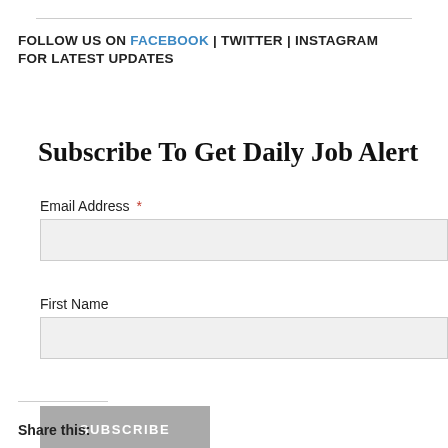FOLLOW US ON FACEBOOK | TWITTER | INSTAGRAM FOR LATEST UPDATES
Subscribe To Get Daily Job Alert
Email Address *
First Name
SUBSCRIBE
Share this: